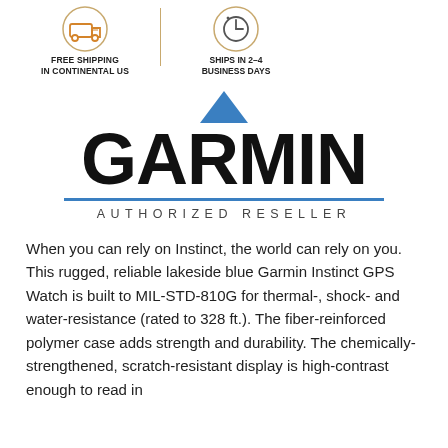[Figure (logo): Free shipping icon: orange truck in circle with text FREE SHIPPING IN CONTINENTAL US]
[Figure (logo): Ships in 2-4 business days icon: clock/timer in circle with text SHIPS IN 2-4 BUSINESS DAYS]
[Figure (logo): Garmin authorized reseller logo: blue triangle above GARMIN wordmark with blue underline and AUTHORIZED RESELLER text]
When you can rely on Instinct, the world can rely on you. This rugged, reliable lakeside blue Garmin Instinct GPS Watch is built to MIL-STD-810G for thermal-, shock- and water-resistance (rated to 328 ft.). The fiber-reinforced polymer case adds strength and durability. The chemically-strengthened, scratch-resistant display is high-contrast enough to read in